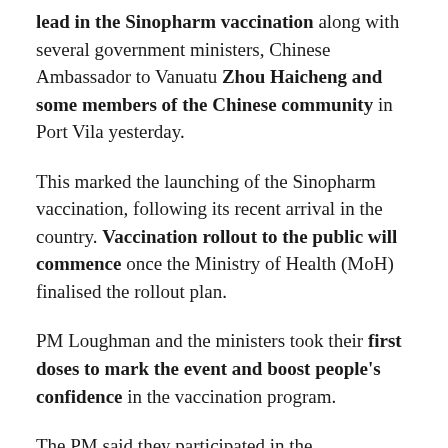lead in the Sinopharm vaccination along with several government ministers, Chinese Ambassador to Vanuatu Zhou Haicheng and some members of the Chinese community in Port Vila yesterday.
This marked the launching of the Sinopharm vaccination, following its recent arrival in the country. Vaccination rollout to the public will commence once the Ministry of Health (MoH) finalised the rollout plan.
PM Loughman and the ministers took their first doses to mark the event and boost people's confidence in the vaccination program.
The PM said they participated in the